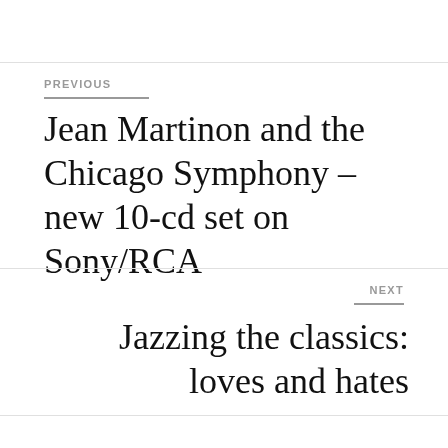PREVIOUS
Jean Martinon and the Chicago Symphony – new 10-cd set on Sony/RCA
NEXT
Jazzing the classics: loves and hates